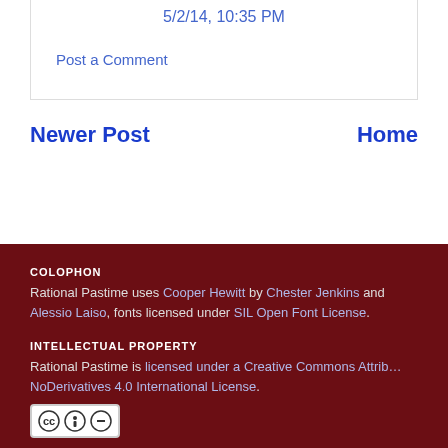5/2/14, 10:35 PM
Post a Comment
Newer Post
Home
COLOPHON
Rational Pastime uses Cooper Hewitt by Chester Jenkins and Alessio Laiso, fonts licensed under SIL Open Font License.
INTELLECTUAL PROPERTY
Rational Pastime is licensed under a Creative Commons Attribution-NoDerivatives 4.0 International License.
[Figure (logo): Creative Commons CC BY-ND license icon]